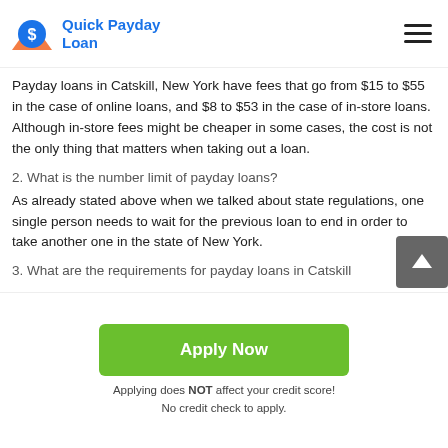Quick Payday Loan
Payday loans in Catskill, New York have fees that go from $15 to $55 in the case of online loans, and $8 to $53 in the case of in-store loans. Although in-store fees might be cheaper in some cases, the cost is not the only thing that matters when taking out a loan.
2. What is the number limit of payday loans?
As already stated above when we talked about state regulations, one single person needs to wait for the previous loan to end in order to take another one in the state of New York.
3. What are the requirements for payday loans in Catskill
Apply Now
Applying does NOT affect your credit score!
No credit check to apply.